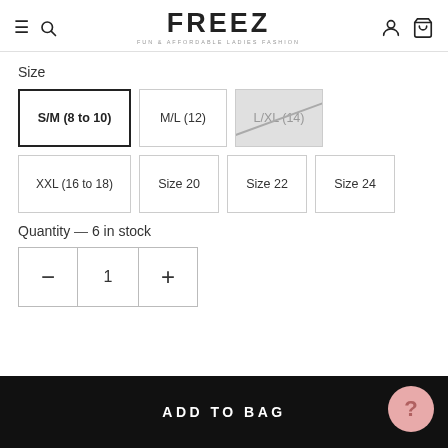FREEZ — FUN & AFFORDABLE LADIES FASHION
Size
S/M (8 to 10) [selected]
M/L (12)
L/XL (14) [unavailable]
XXL (16 to 18)
Size 20
Size 22
Size 24
Quantity — 6 in stock
Quantity controls: minus, 1, plus
ADD TO BAG